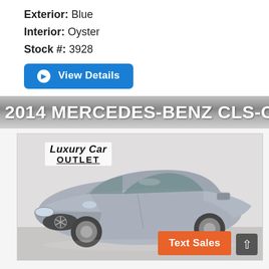Exterior: Blue
Interior: Oyster
Stock #: 3928
View Details
2014 MERCEDES-BENZ CLS-CLASS
[Figure (photo): Silver 2014 Mercedes-Benz CLS-Class sedan photographed from front-left angle in a dealership setting, with Luxury Car Outlet logo overlay and Text Sales button in bottom right corner.]